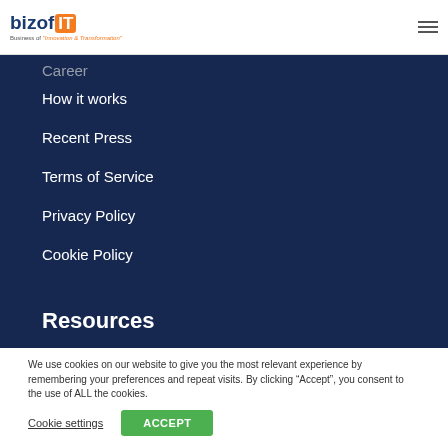bizofIT — Business of Innovation & Transformation
Career
How it works
Recent Press
Terms of Service
Privacy Policy
Cookie Policy
Resources
We use cookies on our website to give you the most relevant experience by remembering your preferences and repeat visits. By clicking “Accept”, you consent to the use of ALL the cookies.
Cookie settings   ACCEPT